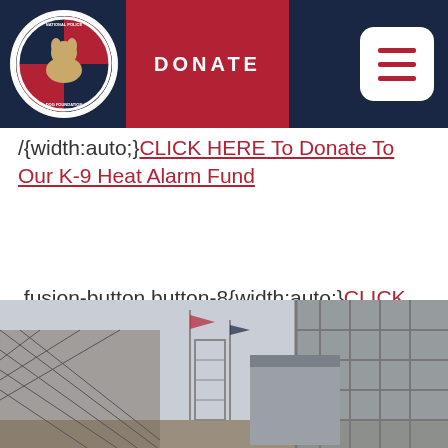DONATE
/{width:auto;}CLICK HERE To Donate To Our K-9 Heat Alarm Fund
.fusion-button.button-8{width:auto;}CLICK HERE To Learn More About Our K-9 Heat Alarm Fund
[Figure (photo): Outdoor photo showing scaffolding structures, flag poles, and a building, appearing to be a training or facility ground.]